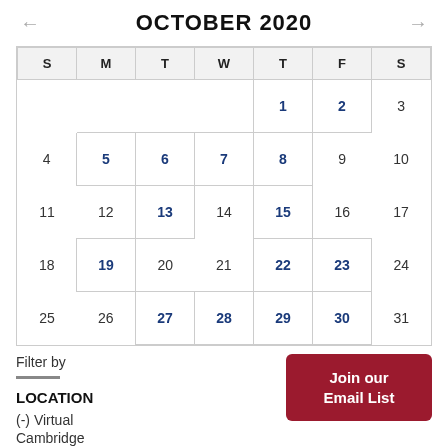← OCTOBER 2020 →
| S | M | T | W | T | F | S |
| --- | --- | --- | --- | --- | --- | --- |
|  |  |  |  | 1 | 2 | 3 |
| 4 | 5 | 6 | 7 | 8 | 9 | 10 |
| 11 | 12 | 13 | 14 | 15 | 16 | 17 |
| 18 | 19 | 20 | 21 | 22 | 23 | 24 |
| 25 | 26 | 27 | 28 | 29 | 30 | 31 |
Filter by
LOCATION
(-) Virtual
Cambridge